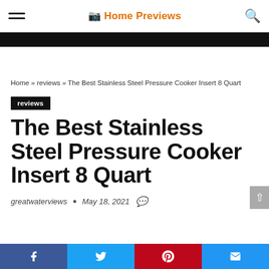Home Previews
Home » reviews » The Best Stainless Steel Pressure Cooker Insert 8 Quart
reviews
The Best Stainless Steel Pressure Cooker Insert 8 Quart
greatwaterviews  •  May 18, 2021